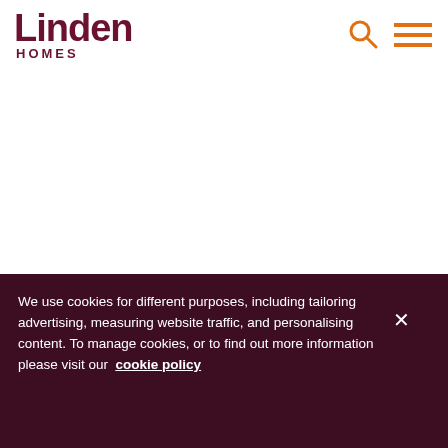Linden HOMES
[Figure (screenshot): White blank main content area of the Linden Homes website with a gray rounded element in the bottom right corner]
We use cookies for different purposes, including tailoring advertising, measuring website traffic, and personalising content. To manage cookies, or to find out more information please visit our cookie policy